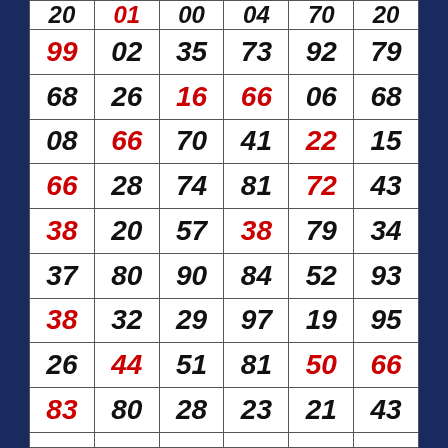| 20 | 01 | 00 | 04 | 70 | 20 |
| 99 | 02 | 35 | 73 | 92 | 79 |
| 68 | 26 | 16 | 66 | 06 | 68 |
| 08 | 66 | 70 | 41 | 22 | 15 |
| 66 | 28 | 74 | 81 | 72 | 43 |
| 38 | 20 | 57 | 38 | 79 | 34 |
| 37 | 80 | 90 | 84 | 52 | 93 |
| 38 | 32 | 29 | 97 | 19 | 95 |
| 26 | 44 | 51 | 81 | 50 | 66 |
| 83 | 80 | 28 | 23 | 21 | 43 |
| ... | 50 | ... | ... | 47 | ... |